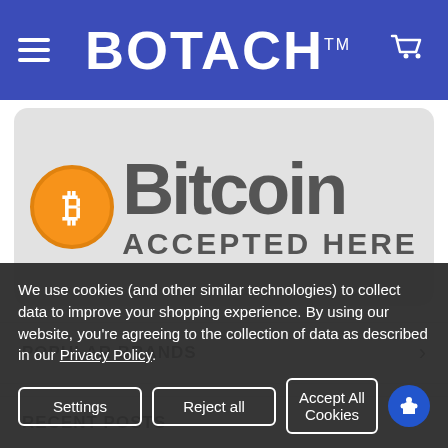BOTACH™
[Figure (illustration): Bitcoin Accepted Here logo: orange Bitcoin circle logo with the word 'Bitcoin' in dark grey large text and 'ACCEPTED HERE' below, on a light grey rounded rectangle background]
POPULAR BRANDS
RECENT POSTS
We use cookies (and other similar technologies) to collect data to improve your shopping experience. By using our website, you're agreeing to the collection of data as described in our Privacy Policy.